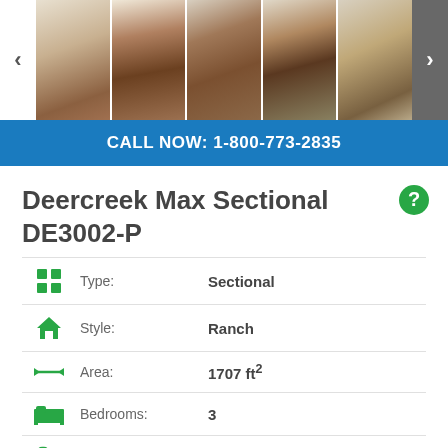[Figure (photo): Carousel of 5 kitchen interior photos with left/right navigation arrows]
CALL NOW: 1-800-773-2835
Deercreek Max Sectional DE3002-P
| Type: | Sectional |
| Style: | Ranch |
| Area: | 1707 ft² |
| Bedrooms: | 3 |
| Baths: | 2 |
| Location: | Osceola Mills, Lewistown |